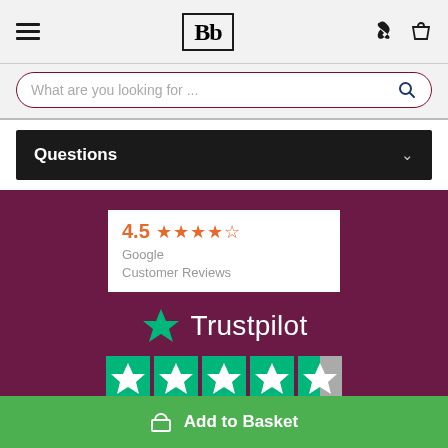Bb logo with hamburger menu, phone and basket icons
What are you looking for ...
Questions
[Figure (screenshot): Google Customer Reviews badge showing 4.5 star rating with orange stars]
[Figure (logo): Trustpilot logo with large teal star and white text, and 5 teal star rating tiles below]
Add to Basket